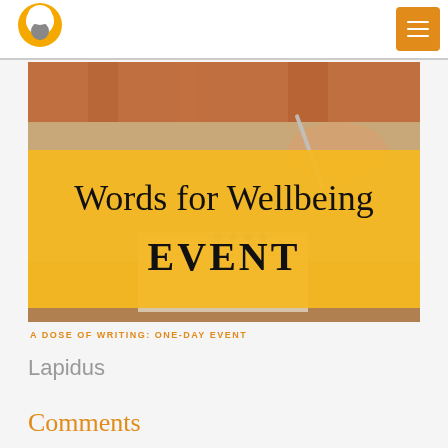[Figure (illustration): Hero image with photograph of hands writing in a spiral notebook. A large yellow/gold semi-transparent band across the middle displays the text 'Words for Wellbeing EVENT' in serif font.]
A DOSE OF WRITING: ONE-DAY EVENT
Lapidus
Comments